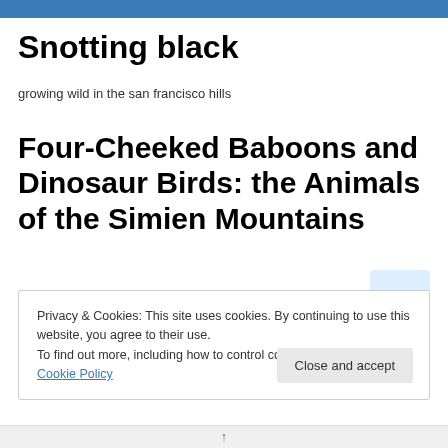Snotting black
growing wild in the san francisco hills
Four-Cheeked Baboons and Dinosaur Birds: the Animals of the Simien Mountains
Privacy & Cookies: This site uses cookies. By continuing to use this website, you agree to their use.
To find out more, including how to control cookies, see here: Cookie Policy